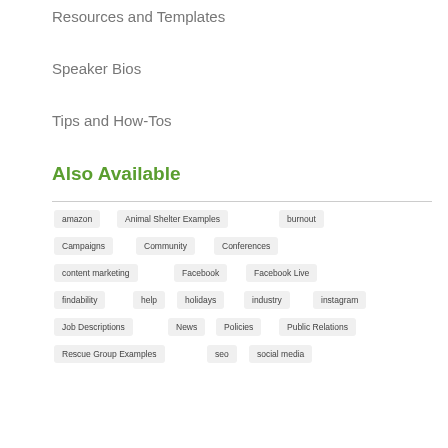Resources and Templates
Speaker Bios
Tips and How-Tos
Also Available
amazon
Animal Shelter Examples
burnout
Campaigns
Community
Conferences
content marketing
Facebook
Facebook Live
findability
help
holidays
industry
instagram
Job Descriptions
News
Policies
Public Relations
Rescue Group Examples
seo
social media